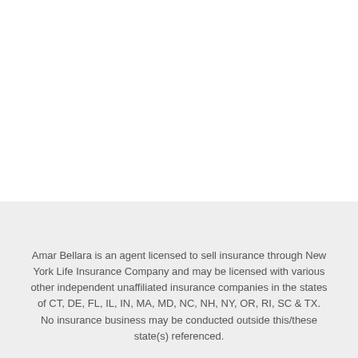Amar Bellara is an agent licensed to sell insurance through New York Life Insurance Company and may be licensed with various other independent unaffiliated insurance companies in the states of CT, DE, FL, IL, IN, MA, MD, NC, NH, NY, OR, RI, SC & TX. No insurance business may be conducted outside this/these state(s) referenced.